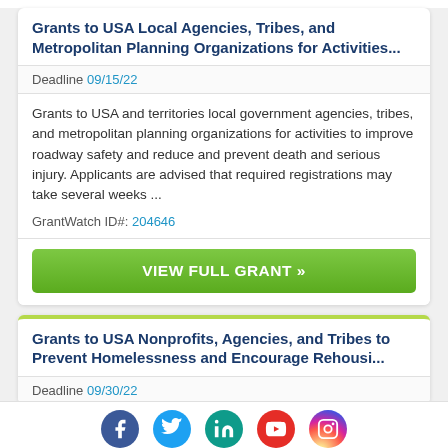Grants to USA Local Agencies, Tribes, and Metropolitan Planning Organizations for Activities...
Deadline 09/15/22
Grants to USA and territories local government agencies, tribes, and metropolitan planning organizations for activities to improve roadway safety and reduce and prevent death and serious injury. Applicants are advised that required registrations may take several weeks ...
GrantWatch ID#: 204646
VIEW FULL GRANT »
Grants to USA Nonprofits, Agencies, and Tribes to Prevent Homelessness and Encourage Rehousi...
Deadline 09/30/22
[Figure (infographic): Social media icons row: Facebook (blue), Twitter (light blue), LinkedIn (teal), YouTube (red), Instagram (gradient pink/purple)]